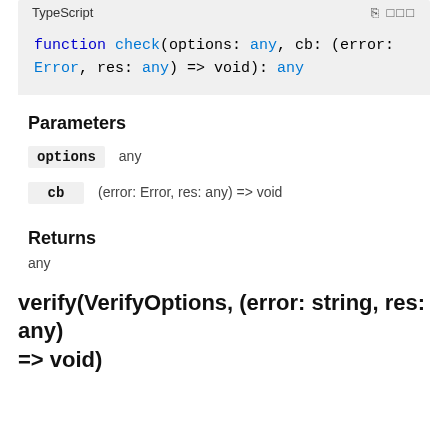[Figure (screenshot): TypeScript code block showing: function check(options: any, cb: (error: Error, res: any) => void): any]
Parameters
options   any
cb   (error: Error, res: any) => void
Returns
any
verify(VerifyOptions, (error: string, res: any) => void)